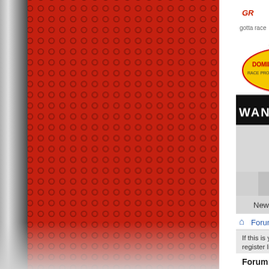[Figure (screenshot): Partial screenshot of a motorsport forum website showing sponsor logos (Dominator, QA1), an advertisement banner 'WANT TO ADVERTISE YOUR EVENT OR BU...', navigation tabs (What's New?, Forum), sub-navigation (New Posts, FAQ, Calendar, Community, Forum...), breadcrumb (Forum > Press Releases), a notice about first visit and FAQ, section header 'Forum: Press Releases', description 'Please post all PR here instead of the other boards.', and Sub-Forums section beginning. Left side shows decorative red background with circle dot pattern and silver/chrome diagonal bar.]
WANT TO ADVERTISE YOUR EVENT OR BU
What's New?
Forum
New Posts  FAQ  Calendar  Community  Forum A
Forum  Press Releases
If this is your first visit, be sure to check out the FAQ. You may have to register link above to proceed. To start viewing mes
Forum: Press Releases
Please post all PR here instead of the other boards.
Sub-Forums